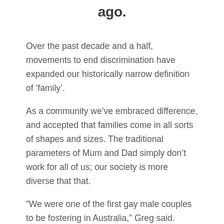ago.
Over the past decade and a half, movements to end discrimination have expanded our historically narrow definition of ‘family’.
As a community we’ve embraced difference, and accepted that families come in all sorts of shapes and sizes. The traditional parameters of Mum and Dad simply don’t work for all of us; our society is more diverse that that.
“We were one of the first gay male couples to be fostering in Australia,” Greg said.
“I was 21 at the time and I remember feeling a bit like